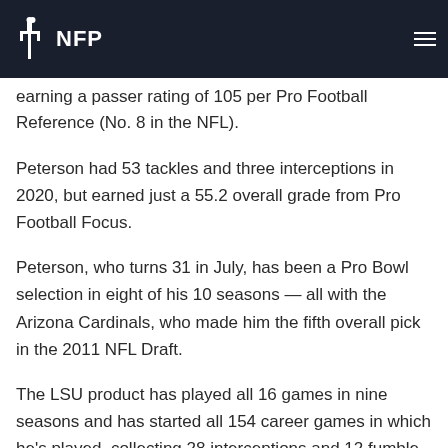NFP
touchdowns and 13 interceptions in 2020, earning a passer rating of 105 per Pro Football Reference (No. 8 in the NFL).
Peterson had 53 tackles and three interceptions in 2020, but earned just a 55.2 overall grade from Pro Football Focus.
Peterson, who turns 31 in July, has been a Pro Bowl selection in eight of his 10 seasons — all with the Arizona Cardinals, who made him the fifth overall pick in the 2011 NFL Draft.
The LSU product has played all 16 games in nine seasons and has started all 154 career games in which he's played, collecting 28 interceptions and 12 fumble recoveries.